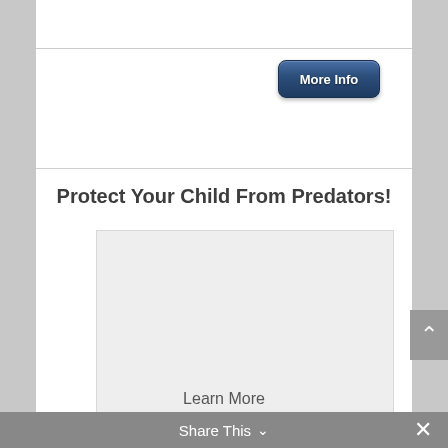[Figure (screenshot): A blue rounded button labeled 'More Info' on a white background, positioned in the upper right area of the content section]
Protect Your Child From Predators!
[Figure (other): A light grey rectangular advertisement placeholder box with 'Learn More' text below it]
Learn More
Share This ∨  ✕